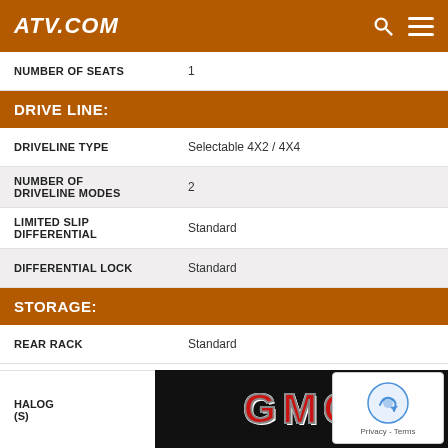ATV.COM
| NUMBER OF SEATS | 1 |
| DRIVE LINE: |  |
| DRIVELINE TYPE | Selectable 4X2 / 4X4 |
| NUMBER OF DRIVELINE MODES | 2 |
| LIMITED SLIP DIFFERENTIAL | Standard |
| DIFFERENTIAL LOCK | Standard |
| STORAGE: |  |
| REAR RACK | Standard |
| FRONT RACK | Standard |
| LIGHTS: |  |
| HALOG (S) |  |
[Figure (logo): GMC logo in red metallic text on black background]
[Figure (other): reCAPTCHA widget with Privacy - Terms text]